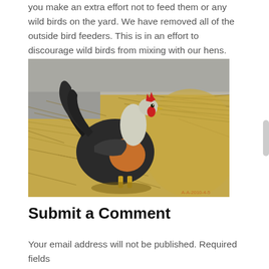you make an extra effort not to feed them or any wild birds on the yard. We have removed all of the outside bird feeders. This is in an effort to discourage wild birds from mixing with our hens.
[Figure (photo): A rooster with black, white, and orange feathers standing in a pile of hay or straw, with a concrete wall visible in the background.]
Submit a Comment
Your email address will not be published. Required fields